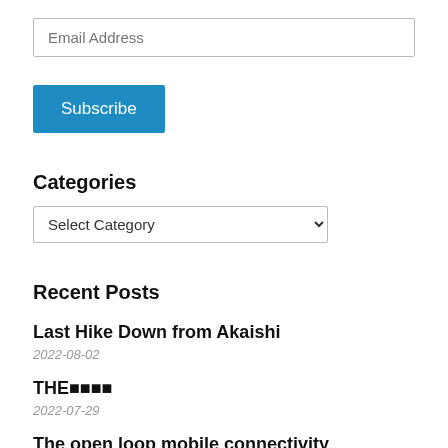Email Address
Subscribe
Categories
Select Category
Recent Posts
Last Hike Down from Akaishi
2022-08-02
THE■■■■
2022-07-29
The open loop mobile connectivity challenge